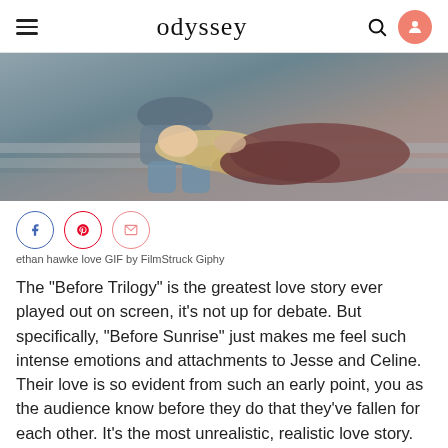odyssey
[Figure (photo): A couple lying together on stone steps, the woman with long blonde hair resting her head on the man's lap, in a cinematic still from 'Before Sunrise'.]
ethan hawke love GIF by FilmStruck Giphy
The "Before Trilogy" is the greatest love story ever played out on screen, it's not up for debate. But specifically, "Before Sunrise" just makes me feel such intense emotions and attachments to Jesse and Celine. Their love is so evident from such an early point, you as the audience know before they do that they've fallen for each other. It's the most unrealistic, realistic love story. I'll know I have found the one when they make me feel